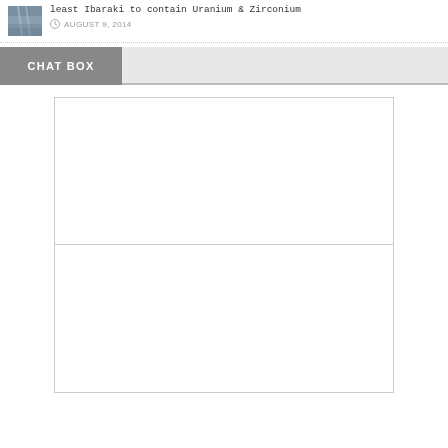[Figure (photo): Small thumbnail image of a foggy or steamy industrial/nuclear scene]
least Ibaraki to contain Uranium & Zirconium
AUGUST 9, 2014
CHAT BOX
[Figure (other): Chat box upper input/display area - empty white rectangle]
[Figure (other): Chat box lower input/display area - empty white rectangle]